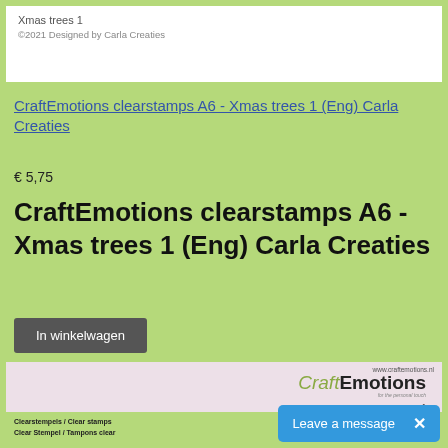[Figure (screenshot): Small product thumbnail showing 'Xmas trees 1' stamp sheet with copyright text '©2021 Designed by Carla Creaties']
CraftEmotions clearstamps A6 - Xmas trees 1 (Eng) Carla Creaties (linked)
€ 5,75
CraftEmotions clearstamps A6 - Xmas trees 1 (Eng) Carla Creaties
In winkelwagen
[Figure (screenshot): CraftEmotions product packaging image showing branding, URL www.craftemotions.nl, logo, and text 'Clearstempels / Clear stamps / Clear Stempel / Tampons clear' with 'Designed by' Carla signature]
Leave a message  ×